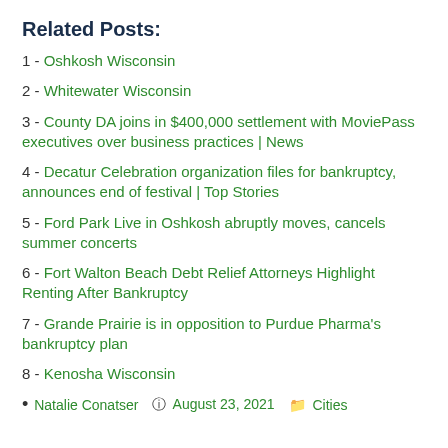Related Posts:
1 - Oshkosh Wisconsin
2 - Whitewater Wisconsin
3 - County DA joins in $400,000 settlement with MoviePass executives over business practices | News
4 - Decatur Celebration organization files for bankruptcy, announces end of festival | Top Stories
5 - Ford Park Live in Oshkosh abruptly moves, cancels summer concerts
6 - Fort Walton Beach Debt Relief Attorneys Highlight Renting After Bankruptcy
7 - Grande Prairie is in opposition to Purdue Pharma's bankruptcy plan
8 - Kenosha Wisconsin
Natalie Conatser  August 23, 2021  Cities